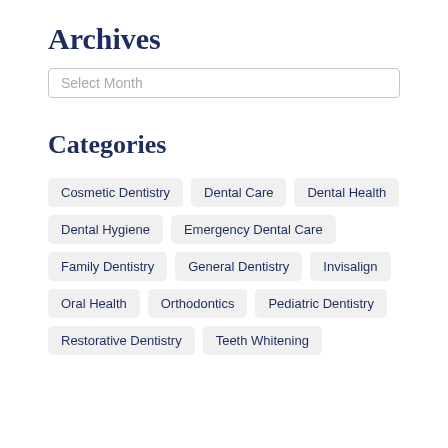Archives
Select Month
Categories
Cosmetic Dentistry
Dental Care
Dental Health
Dental Hygiene
Emergency Dental Care
Family Dentistry
General Dentistry
Invisalign
Oral Health
Orthodontics
Pediatric Dentistry
Restorative Dentistry
Teeth Whitening